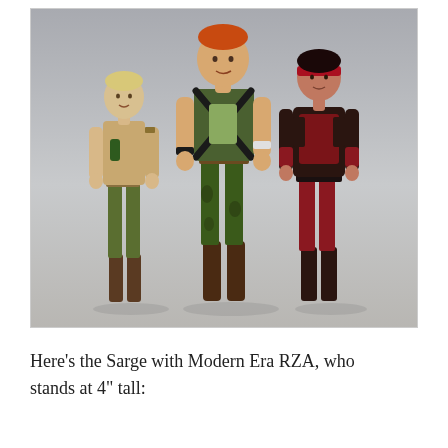[Figure (photo): Three action figures standing side by side against a gray background. Left figure wears a tan/olive military uniform with green accessories. Center figure is taller, wearing green camouflage pants and an olive jacket with black crossed bandoliers. Right figure wears dark brown and red armored suit with a red headband.]
Here’s the Sarge with Modern Era RZA, who stands at 4” tall: